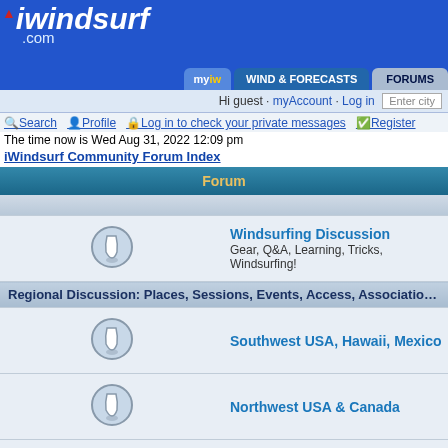[Figure (logo): iWindsurf.com logo — white bold italic text on blue background with small red accent]
myiw | WIND & FORECASTS | FORUMS
Hi guest · myAccount · Log in  Enter city
Search  Profile  Log in to check your private messages  Register
The time now is Wed Aug 31, 2022 12:09 pm
iWindsurf Community Forum Index
| Forum |
| --- |
| Windsurfing Discussion — Gear, Q&A, Learning, Tricks, Windsurfing! |
| Regional Discussion: Places, Sessions, Events, Access, Associations |
| Southwest USA, Hawaii, Mexico |
| Northwest USA & Canada |
| Eastern and Central USA & Canada |
| Europe, Caribbean & S. America, Australia & NZ, Africa, Asia |